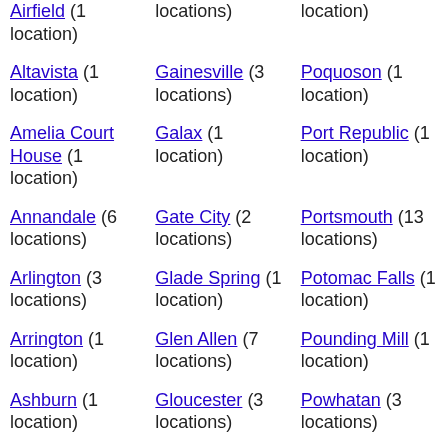Airfield (1 location) [partial top]
locations) [partial top col2]
location) [partial top col3]
Altavista (1 location)
Gainesville (3 locations)
Poquoson (1 location)
Amelia Court House (1 location)
Galax (1 location)
Port Republic (1 location)
Annandale (6 locations)
Gate City (2 locations)
Portsmouth (13 locations)
Arlington (3 locations)
Glade Spring (1 location)
Potomac Falls (1 location)
Arrington (1 location)
Glen Allen (7 locations)
Pounding Mill (1 location)
Ashburn (1 location)
Gloucester (3 locations)
Powhatan (3 locations)
Ashland (9...) [partial bottom]
Goldusin (2...) [partial bottom]
Purcellville (1...) [partial bottom]